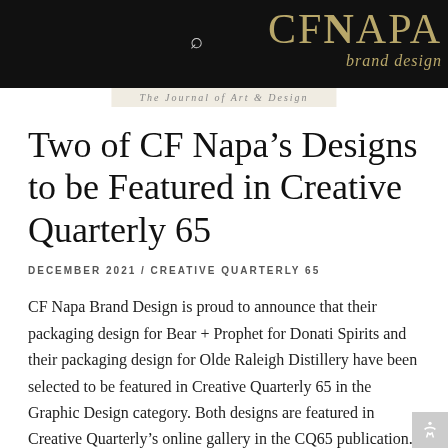CF NAPA brand design
The Journal of Art & Design
Two of CF Napa’s Designs to be Featured in Creative Quarterly 65
DECEMBER 2021 / CREATIVE QUARTERLY 65
CF Napa Brand Design is proud to announce that their packaging design for Bear + Prophet for Donati Spirits and their packaging design for Olde Raleigh Distillery have been selected to be featured in Creative Quarterly 65 in the Graphic Design category. Both designs are featured in Creative Quarterly’s online gallery in the CQ65 publication.